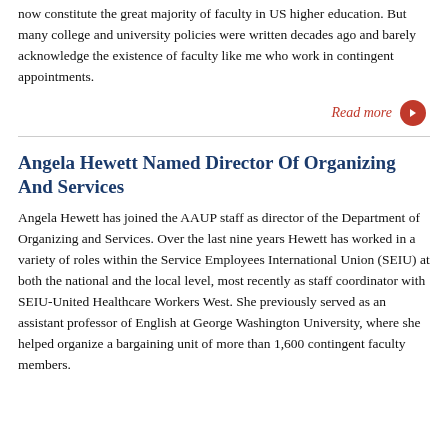now constitute the great majority of faculty in US higher education. But many college and university policies were written decades ago and barely acknowledge the existence of faculty like me who work in contingent appointments.
Read more
Angela Hewett Named Director Of Organizing And Services
Angela Hewett has joined the AAUP staff as director of the Department of Organizing and Services. Over the last nine years Hewett has worked in a variety of roles within the Service Employees International Union (SEIU) at both the national and the local level, most recently as staff coordinator with SEIU-United Healthcare Workers West. She previously served as an assistant professor of English at George Washington University, where she helped organize a bargaining unit of more than 1,600 contingent faculty members.